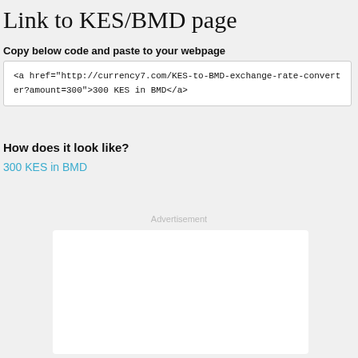Link to KES/BMD page
Copy below code and paste to your webpage
<a href="http://currency7.com/KES-to-BMD-exchange-rate-converter?amount=300">300 KES in BMD</a>
How does it look like?
300 KES in BMD
Advertisement